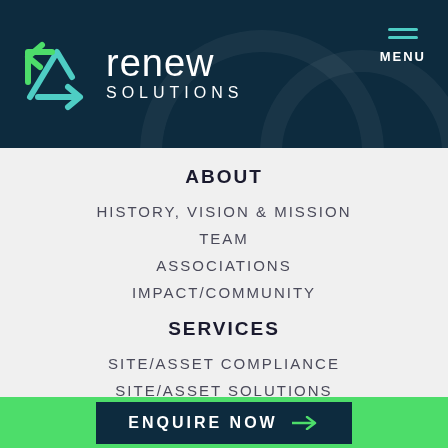renew SOLUTIONS — MENU
ABOUT
HISTORY, VISION & MISSION
TEAM
ASSOCIATIONS
IMPACT/COMMUNITY
SERVICES
SITE/ASSET COMPLIANCE
SITE/ASSET SOLUTIONS
ASSETLOGUE
ENQUIRE NOW →